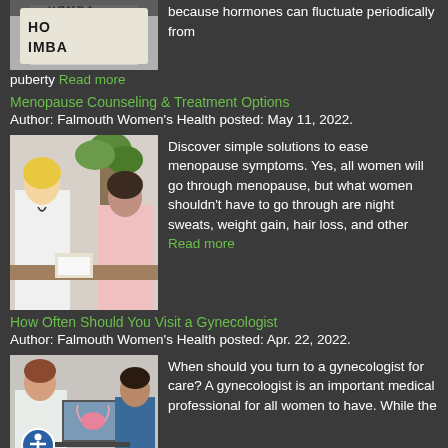[Figure (photo): Partial image of a sign reading HORMONAL IMBALANCE, top portion visible]
because hormones can fluctuate periodically from puberty Read more
Menopause Counseling & Treatment Options
Author: Falmouth Women's Health posted: May 11, 2022.
[Figure (photo): A female doctor in white coat consulting with a female patient in a medical office setting, plant visible in background]
Discover simple solutions to ease menopause symptoms. Yes, all women will go through menopause, but what women shouldn't have to go through are night sweats, weight gain, hair loss, and other Read more
How Often Should You Visit a Gynecologist
Author: Falmouth Women's Health posted: Apr. 22, 2022.
[Figure (photo): A female gynecologist showing a diagram of the female reproductive system on a laptop to a younger female patient; accessibility icon visible in bottom left]
When should you turn to a gynecologist for care? A gynecologist is an important medical professional for all women to have. While the